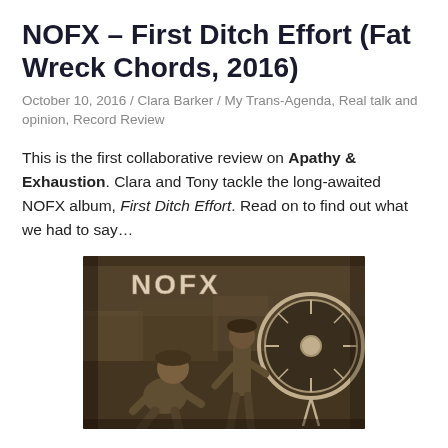NOFX – First Ditch Effort (Fat Wreck Chords, 2016)
October 10, 2016 / Clara Barker / My Trans-Agenda, Real talk and opinion, Record Review
This is the first collaborative review on Apathy & Exhaustion. Clara and Tony tackle the long-awaited NOFX album, First Ditch Effort. Read on to find out what we had to say…
[Figure (photo): Album cover for NOFX First Ditch Effort showing a vintage sepia-toned photograph of people, with NOFX text at the top and a large circular drum or wheel on the right side.]